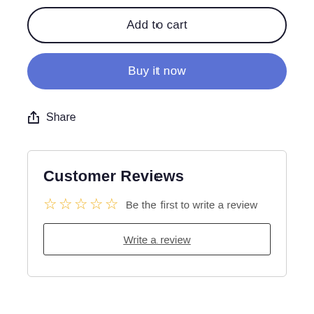Add to cart
Buy it now
Share
Customer Reviews
Be the first to write a review
Write a review